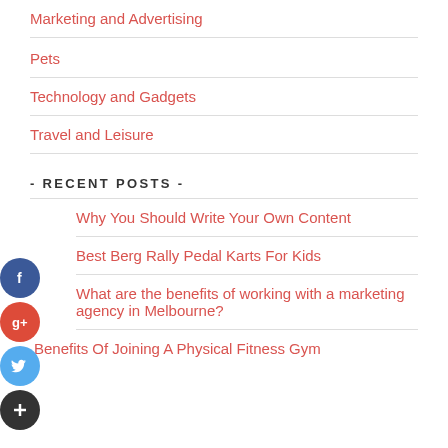Marketing and Advertising
Pets
Technology and Gadgets
Travel and Leisure
- RECENT POSTS -
Why You Should Write Your Own Content
Best Berg Rally Pedal Karts For Kids
What are the benefits of working with a marketing agency in Melbourne?
Benefits Of Joining A Physical Fitness Gym